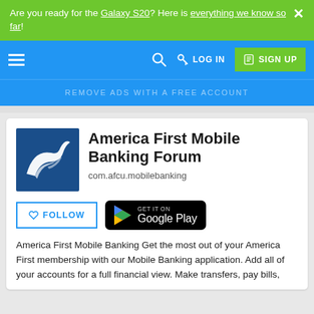Are you ready for the Galaxy S20? Here is everything we know so far!
[Figure (screenshot): Website navigation bar with hamburger menu, search icon, key/LOG IN, and SIGN UP button on blue background]
REMOVE ADS WITH A FREE ACCOUNT
[Figure (logo): America First Credit Union logo - dark blue square with white stylized eagle/wave design]
America First Mobile Banking Forum
com.afcu.mobilebanking
FOLLOW
GET IT ON Google Play
America First Mobile Banking Get the most out of your America First membership with our Mobile Banking application. Add all of your accounts for a full financial view. Make transfers, pay bills,